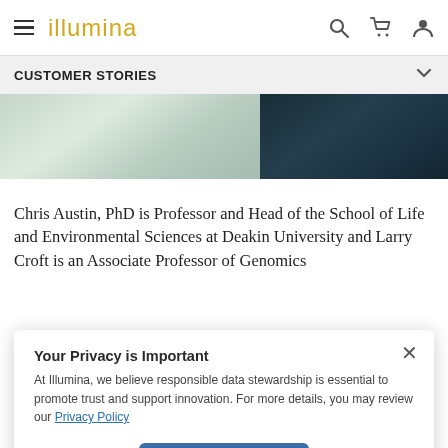illumina
CUSTOMER STORIES
[Figure (photo): Two side-by-side images: left shows a blurred light-colored laboratory scene, right shows a dark teal/navy background scene]
Chris Austin, PhD is Professor and Head of the School of Life and Environmental Sciences at Deakin University and Larry Croft is an Associate Professor of Genomics
Your Privacy is Important
At Illumina, we believe responsible data stewardship is essential to promote trust and support innovation. For more details, you may review our Privacy Policy
Got It